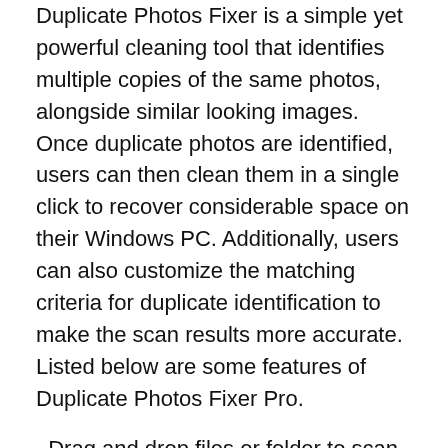Duplicate Photos Fixer is a simple yet powerful cleaning tool that identifies multiple copies of the same photos, alongside similar looking images. Once duplicate photos are identified, users can then clean them in a single click to recover considerable space on their Windows PC. Additionally, users can also customize the matching criteria for duplicate identification to make the scan results more accurate. Listed below are some features of Duplicate Photos Fixer Pro.
· Drag and drop files or folder to scan for duplicates.
· Identifies both exact copies and similar looking photos.
· Also supports duplicate cleaning in external storage devices.
· Auto-Mark function allows quick duplicate cleaning.
“Clogged hard disk is one of the major problems that PC users suffer from across the globe. Most people might want to get a new hard drive once their old drive is full, but that is